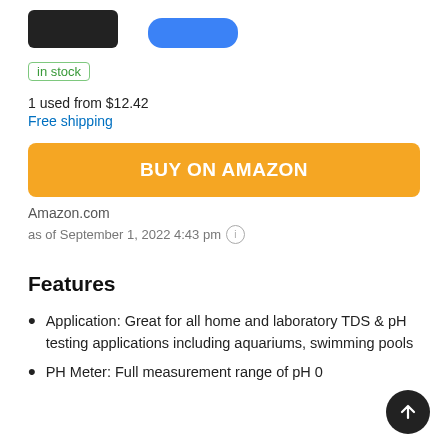[Figure (photo): Partial product images at top: a black rectangular device and a blue rounded device]
in stock
1 used from $12.42
Free shipping
BUY ON AMAZON
Amazon.com
as of September 1, 2022 4:43 pm ℹ
Features
Application: Great for all home and laboratory TDS & pH testing applications including aquariums, swimming pools
PH Meter: Full measurement range of pH 0